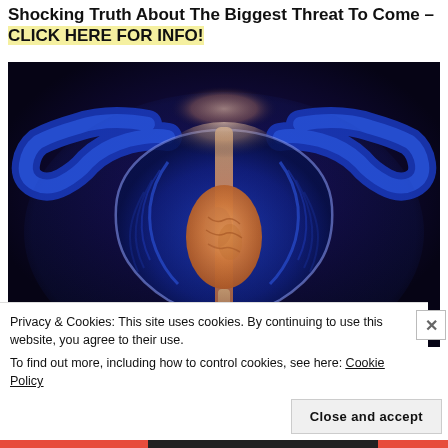Shocking Truth About The Biggest Threat To Come – CLICK HERE FOR INFO!
[Figure (illustration): Medical illustration of the male prostate gland and urinary system on a dark navy/black background, showing anatomical cross-section with blue and orange coloring, depicting the prostate, bladder, and surrounding structures in a glowing artistic style.]
Privacy & Cookies: This site uses cookies. By continuing to use this website, you agree to their use.
To find out more, including how to control cookies, see here: Cookie Policy